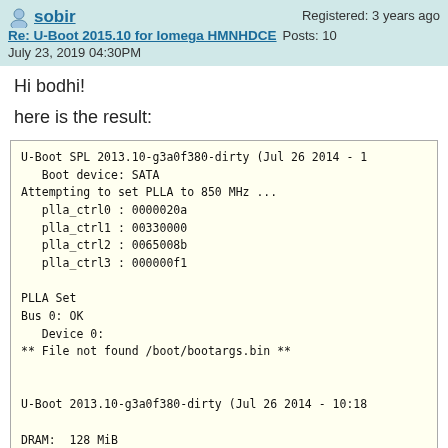sobir
Registered: 3 years ago
Re: U-Boot 2015.10 for Iomega HMNHDCE  Posts: 10
July 23, 2019 04:30PM
Hi bodhi!
here is the result:
U-Boot SPL 2013.10-g3a0f380-dirty (Jul 26 2014 - 1
   Boot device: SATA
Attempting to set PLLA to 850 MHz ...
   plla_ctrl0 : 0000020a
   plla_ctrl1 : 00330000
   plla_ctrl2 : 0065008b
   plla_ctrl3 : 000000f1

PLLA Set
Bus 0: OK
   Device 0:
** File not found /boot/bootargs.bin **


U-Boot 2013.10-g3a0f380-dirty (Jul 26 2014 - 10:18

DRAM:  128 MiB
IDE:   Bus 0: OK